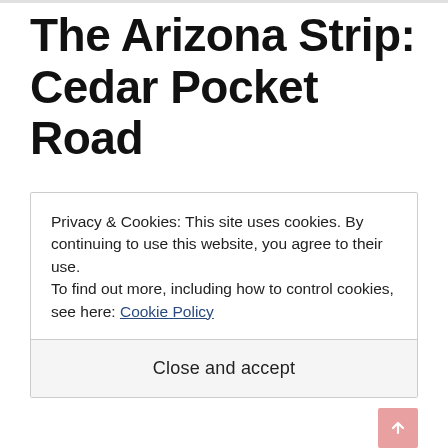The Arizona Strip: Cedar Pocket Road
💬 0
Privacy & Cookies: This site uses cookies. By continuing to use this website, you agree to their use.
To find out more, including how to control cookies, see here: Cookie Policy
Close and accept